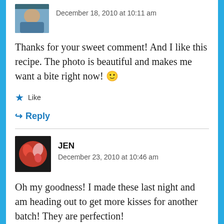[Figure (photo): Small avatar photo of a person, partially cropped, top-left of first comment]
December 18, 2010 at 10:11 am
Thanks for your sweet comment! And I like this recipe. The photo is beautiful and makes me want a bite right now! 🙂
★ Like
↳ Reply
[Figure (photo): Avatar photo showing a colorful heart-shaped object in red and pink tones]
JEN
December 23, 2010 at 10:46 am
Oh my goodness! I made these last night and am heading out to get more kisses for another batch! They are perfection!
★ Like